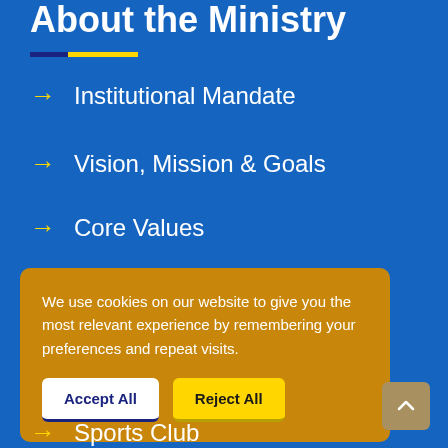About the Ministry
Institutional Mandate
Vision, Mission & Goals
Core Values
Minister's Message
Senior Officials
We use cookies on our website to give you the most relevant experience by remembering your preferences and repeat visits.
Sports Club